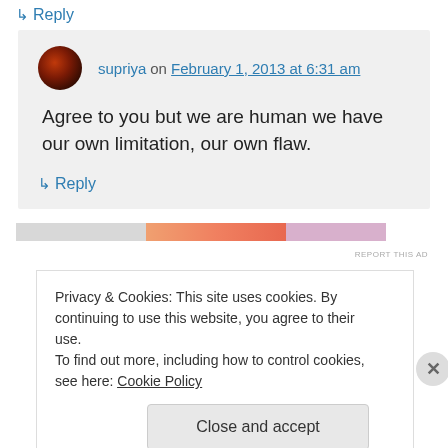↳ Reply
supriya on February 1, 2013 at 6:31 am
Agree to you but we are human we have our own limitation, our own flaw.
↳ Reply
[Figure (other): Advertisement banner with grey, orange gradient, and pink segments]
Privacy & Cookies: This site uses cookies. By continuing to use this website, you agree to their use.
To find out more, including how to control cookies, see here: Cookie Policy
Close and accept